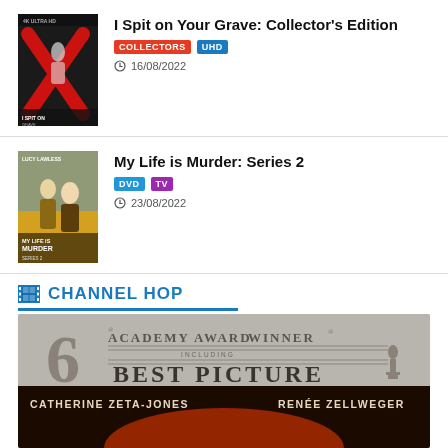[Figure (photo): DVD cover: I Spit on Your Grave Collector's Edition, dark background with red X mark and figure]
I Spit on Your Grave: Collector's Edition
COLLECTORS UHD
16/08/2022
[Figure (photo): DVD cover: My Life is Murder Series 2, Lucy Lawless, orange/golden background with two figures]
My Life is Murder: Series 2
DVD TV
23/08/2022
CHANNEL HOP
[Figure (photo): Movie poster/cover for Chicago: 6 Academy Award Winner Best Picture, featuring Catherine Zeta-Jones, Renée Zellweger and Richard Gere]